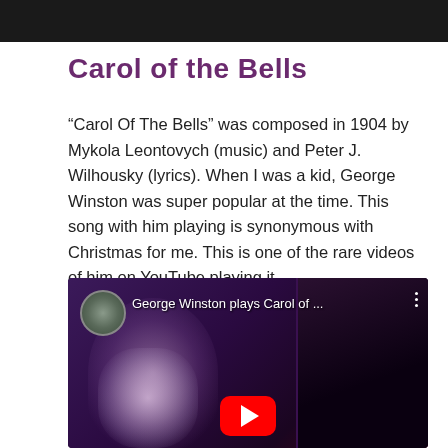[Figure (screenshot): Dark banner/header image at the top of the page]
Carol of the Bells
“Carol Of The Bells” was composed in 1904 by Mykola Leontovych (music) and Peter J. Wilhousky (lyrics). When I was a kid, George Winston was super popular at the time. This song with him playing is synonymous with Christmas for me. This is one of the rare videos of him on YouTube playing it.
[Figure (screenshot): YouTube video embed showing George Winston plays Carol of ... with a thumbnail of a man playing piano on a dark stage with purple lighting and a YouTube play button overlay]